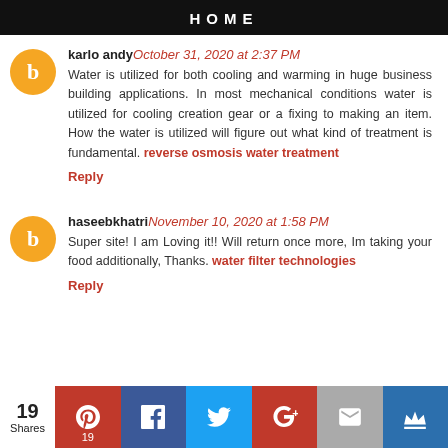HOME
karlo andy October 31, 2020 at 2:37 PM
Water is utilized for both cooling and warming in huge business building applications. In most mechanical conditions water is utilized for cooling creation gear or a fixing to making an item. How the water is utilized will figure out what kind of treatment is fundamental. reverse osmosis water treatment
Reply
haseebkhatri November 10, 2020 at 1:58 PM
Super site! I am Loving it!! Will return once more, Im taking your food additionally, Thanks. water filter technologies
Reply